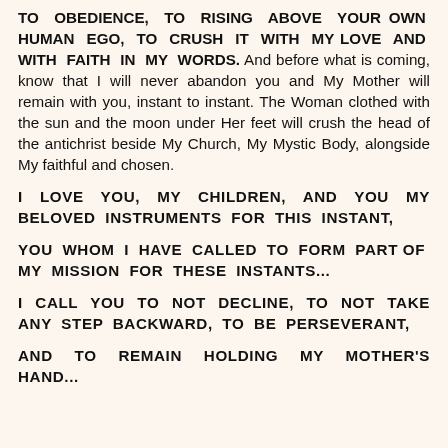TO OBEDIENCE, TO RISING ABOVE YOUR OWN HUMAN EGO, TO CRUSH IT WITH MY LOVE AND WITH FAITH IN MY WORDS. And before what is coming, know that I will never abandon you and My Mother will remain with you, instant to instant. The Woman clothed with the sun and the moon under Her feet will crush the head of the antichrist beside My Church, My Mystic Body, alongside My faithful and chosen.
I LOVE YOU, MY CHILDREN, AND YOU MY BELOVED INSTRUMENTS FOR THIS INSTANT,
YOU WHOM I HAVE CALLED TO FORM PART OF MY MISSION FOR THESE INSTANTS...
I CALL YOU TO NOT DECLINE, TO NOT TAKE ANY STEP BACKWARD, TO BE PERSEVERANT,
AND TO REMAIN HOLDING MY MOTHER'S HAND...